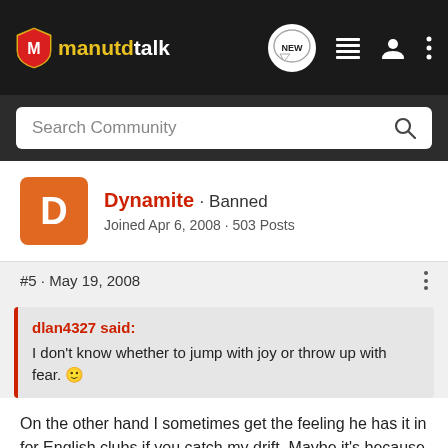manutdtalk
Search Community
Dynamite · Banned
Joined Apr 6, 2008 · 503 Posts
#5 · May 19, 2008
dlan4327 said:
I don't know whether to jump with joy or throw up with fear.
On the other hand I sometimes get the feeling he has it in for English clubs if you catch my drift. Maybe it's because Premier League clubs have the most cash.
Click to expand...